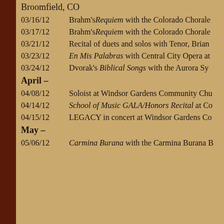Broomfield, CO
03/16/12   Brahm's Requiem with the Colorado Chorale
03/17/12   Brahm's Requiem with the Colorado Chorale
03/21/12   Recital of duets and solos with Tenor, Brian
03/23/12   En Mis Palabras with Central City Opera at
03/24/12   Dvorak's Biblical Songs with the Aurora Sy
April –
04/08/12   Soloist at Windsor Gardens Community Chu
04/14/12   School of Music GALA/Honors Recital at Co
04/15/12   LEGACY in concert at Windsor Gardens Co
May –
05/06/12   Carmina Burana with the Carmina Burana B